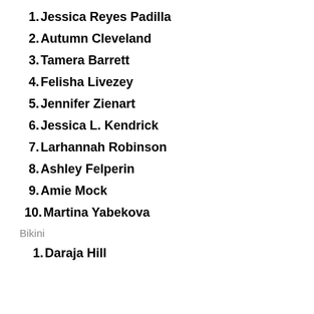1. Jessica Reyes Padilla
2. Autumn Cleveland
3. Tamera Barrett
4. Felisha Livezey
5. Jennifer Zienart
6. Jessica L. Kendrick
7. Larhannah Robinson
8. Ashley Felperin
9. Amie Mock
10. Martina Yabekova
Bikini
1. Daraja Hill